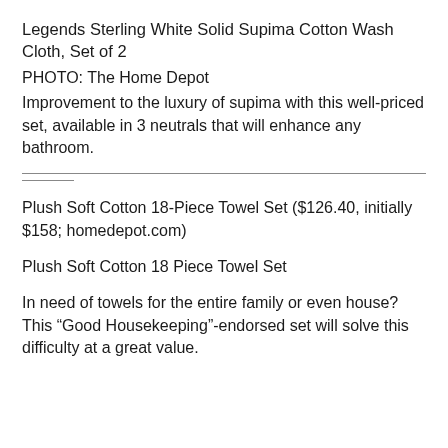Legends Sterling White Solid Supima Cotton Wash Cloth, Set of 2
PHOTO: The Home Depot
Improvement to the luxury of supima with this well-priced set, available in 3 neutrals that will enhance any bathroom.
Plush Soft Cotton 18-Piece Towel Set ($126.40, initially $158; homedepot.com)
Plush Soft Cotton 18 Piece Towel Set
In need of towels for the entire family or even house? This “Good Housekeeping”-endorsed set will solve this difficulty at a great value.